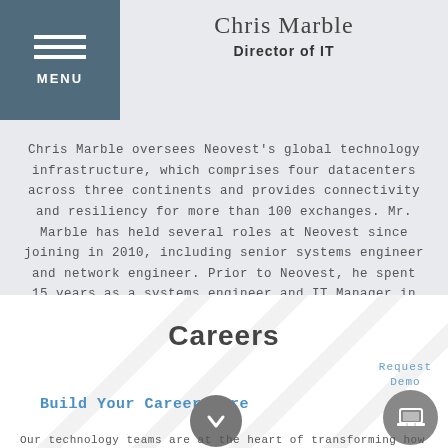MENU
Chris Marble
Director of IT
Chris Marble oversees Neovest's global technology infrastructure, which comprises four datacenters across three continents and provides connectivity and resiliency for more than 100 exchanges. Mr. Marble has held several roles at Neovest since joining in 2010, including senior systems engineer and network engineer. Prior to Neovest, he spent 15 years as a systems engineer and IT Manager in the higher education sector. Mr. Marble holds a BS degree from Brigham Young University.
Careers
Request Demo
Build Your Career Here
Our technology teams are at the heart of transforming how